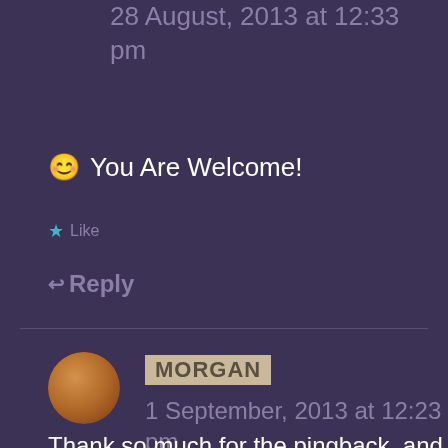28 August, 2013 at 12:33 pm
😊 You Are Welcome!
★ Like
↩ Reply
MORGAN
1 September, 2013 at 12:23 pm
Thank so much for the pingback. and congratulations!! 🙂